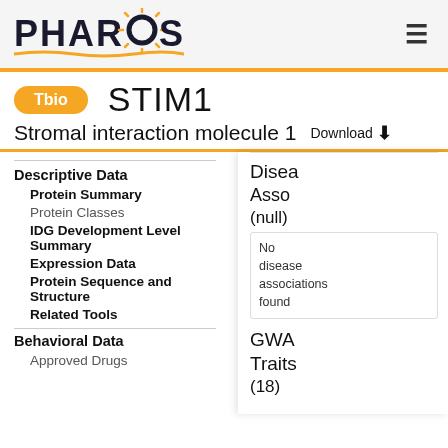PHAROS
STIM1
Tbio
Stromal interaction molecule 1  Download
Descriptive Data
Protein Summary
Protein Classes
IDG Development Level Summary
Expression Data
Protein Sequence and Structure
Related Tools
Behavioral Data
Approved Drugs
Disease Associations (null) No disease associations found
GWAS Traits (18)